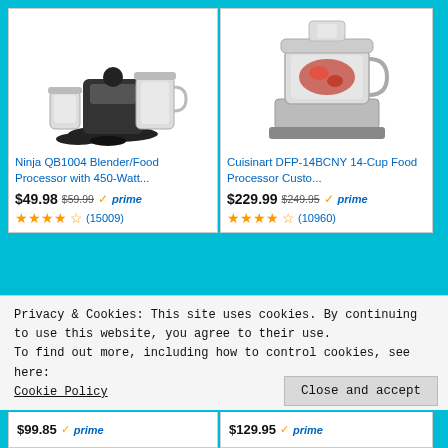[Figure (photo): Ninja QB1004 blender/food processor with multiple cups and black base]
Ninja QB1004 Blender/Food Processor with 450-Watt...
$49.98 $59.99 ✓prime (15009)
[Figure (photo): Cuisinart DFP-14BCNY 14-Cup Food Processor with meat inside bowl]
Cuisinart DFP-14BCNY 14-Cup Food Processor Custo...
$229.99 $249.95 ✓prime (10960)
[Figure (photo): Partial image of a food processor, bottom card]
[Figure (photo): Partial image of a food processor cup/bowl, bottom card]
Privacy & Cookies: This site uses cookies. By continuing to use this website, you agree to their use.
To find out more, including how to control cookies, see here:
Cookie Policy
Close and accept
$99.85 ✓prime
$129.95 ✓prime